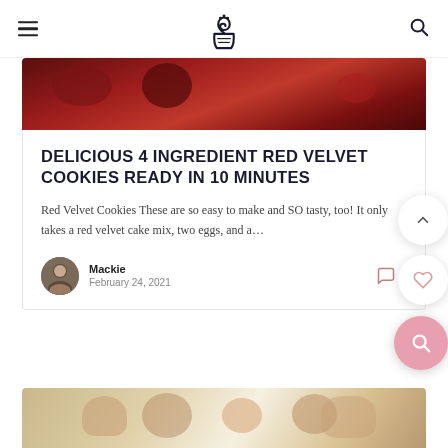Cupcake/dessert blog header with logo, menu and search icon
[Figure (photo): Red velvet cookies hero image — dark red/crimson background]
DELICIOUS 4 INGREDIENT RED VELVET COOKIES READY IN 10 MINUTES
Red Velvet Cookies These are so easy to make and SO tasty, too! It only takes a red velvet cake mix, two eggs, and a...
Mackie
February 24, 2021
[Figure (photo): Bottom card showing pastries/cookies on a white plate on a gray surface]